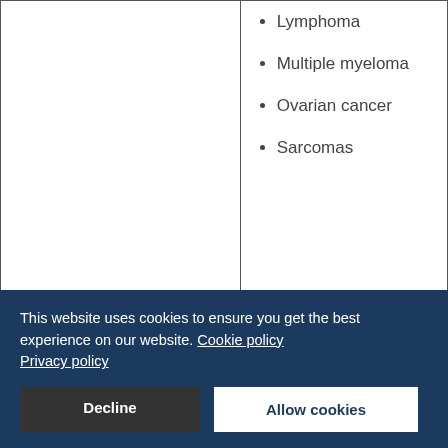Lymphoma
Multiple myeloma
Ovarian cancer
Sarcomas
Antimetabolites
| Drug Names | Cancers Treated |
| --- | --- |
| 5-fluorouracil, capecitabine, | Antimetabolite |
This website uses cookies to ensure you get the best experience on our website. Cookie policy Privacy policy
Decline
Allow cookies